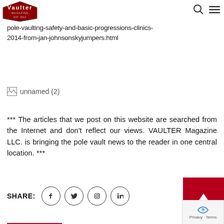[Figure (logo): Vaulter Magazine logo - shield shape with red background, EST. 2012]
pole-vaulting-safety-and-basic-progressions-clinics-2014-from-jan-johnsonskyjumpers.html
[Figure (photo): Broken/missing image placeholder labeled 'unnamed (2)']
*** The articles that we post on this website are searched from the Internet and don't reflect our views. VAULTER Magazine LLC. is bringing the pole vault news to the reader in one central location. ***
SHARE: